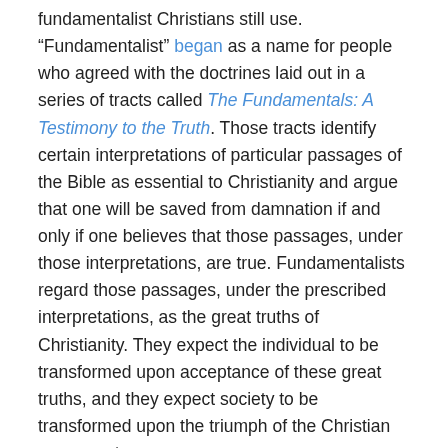fundamentalist Christians still use. “Fundamentalist” began as a name for people who agreed with the doctrines laid out in a series of tracts called The Fundamentals: A Testimony to the Truth. Those tracts identify certain interpretations of particular passages of the Bible as essential to Christianity and argue that one will be saved from damnation if and only if one believes that those passages, under those interpretations, are true. Fundamentalists regard those passages, under the prescribed interpretations, as the great truths of Christianity. They expect the individual to be transformed upon acceptance of these great truths, and they expect society to be transformed upon the triumph of the Christian movement.
To what sort of atheism does fundamentalist Christianity characteristically give rise? I myself know many atheists